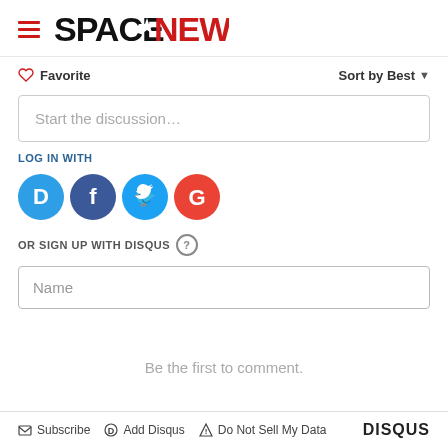SPACENEWS
Favorite   Sort by Best
Start the discussion…
LOG IN WITH
[Figure (infographic): Social login icons: Disqus (blue), Facebook (dark blue), Twitter (light blue), Google (red)]
OR SIGN UP WITH DISQUS ?
Name
Be the first to comment.
Subscribe   Add Disqus   Do Not Sell My Data   DISQUS